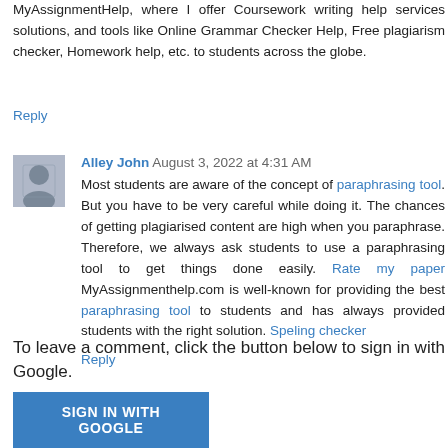MyAssignmentHelp, where I offer Coursework writing help services solutions, and tools like Online Grammar Checker Help, Free plagiarism checker, Homework help, etc. to students across the globe.
Reply
Alley John August 3, 2022 at 4:31 AM
Most students are aware of the concept of paraphrasing tool. But you have to be very careful while doing it. The chances of getting plagiarised content are high when you paraphrase. Therefore, we always ask students to use a paraphrasing tool to get things done easily. Rate my paper MyAssignmenthelp.com is well-known for providing the best paraphrasing tool to students and has always provided students with the right solution. Speling checker
Reply
To leave a comment, click the button below to sign in with Google.
SIGN IN WITH GOOGLE